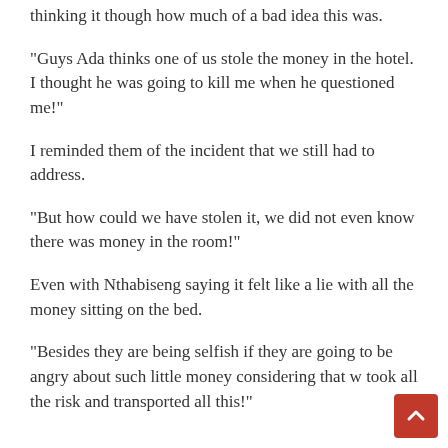thinking it though how much of a bad idea this was.
"Guys Ada thinks one of us stole the money in the hotel. I thought he was going to kill me when he questioned me!"
I reminded them of the incident that we still had to address.
"But how could we have stolen it, we did not even know there was money in the room!"
Even with Nthabiseng saying it felt like a lie with all the money sitting on the bed.
"Besides they are being selfish if they are going to be angry about such little money considering that w took all the risk and transported all this!"